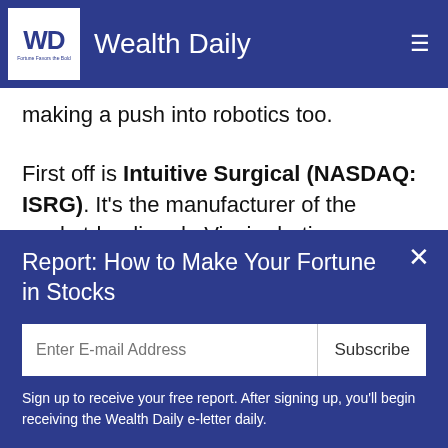Wealth Daily
making a push into robotics too.
First off is Intuitive Surgical (NASDAQ: ISRG). It's the manufacturer of the market-leading da Vinci robotic surgery system.
The company has been growing its top line by double digits for some time, and the shares are up over 300% since 2010.
Report: How to Make Your Fortune in Stocks
Sign up to receive your free report. After signing up, you'll begin receiving the Wealth Daily e-letter daily.